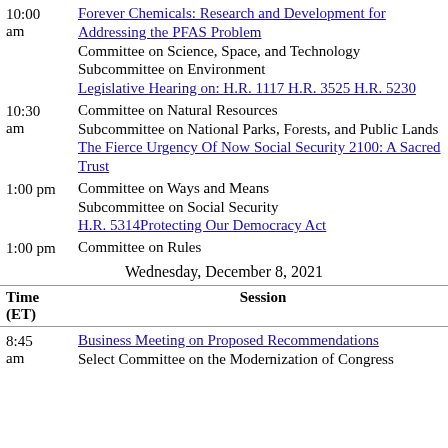10:00 am | Forever Chemicals: Research and Development for Addressing the PFAS Problem | Committee on Science, Space, and Technology Subcommittee on Environment | Legislative Hearing on: H.R. 1117 H.R. 3525 H.R. 5230
10:30 am | Committee on Natural Resources Subcommittee on National Parks, Forests, and Public Lands | The Fierce Urgency Of Now Social Security 2100: A Sacred Trust
1:00 pm | Committee on Ways and Means Subcommittee on Social Security | H.R. 5314Protecting Our Democracy Act
1:00 pm | Committee on Rules
Wednesday, December 8, 2021
Time (ET) | Session
8:45 am | Business Meeting on Proposed Recommendations | Select Committee on the Modernization of Congress